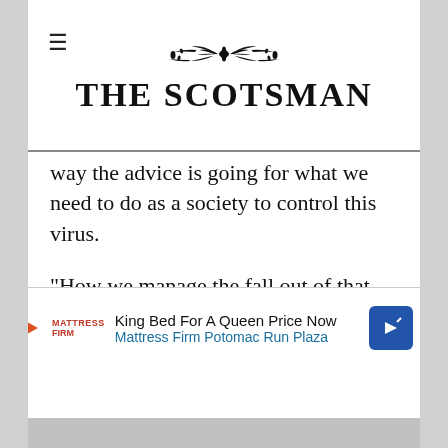THE SCOTSMAN
way the advice is going for what we need to do as a society to control this virus.
"How we manage the fall out of that will not be easy. There will be some people unhappy with the choices made but I think it is a time for taking a step back and realising it is of secondary importance.
"I don't really know what the best answer is. I don't have a strong opinion because I've tried to step back and take a broader view. I know tha... me...
[Figure (other): Advertisement banner: Mattress Firm — King Bed For A Queen Price Now, Mattress Firm Potomac Run Plaza]